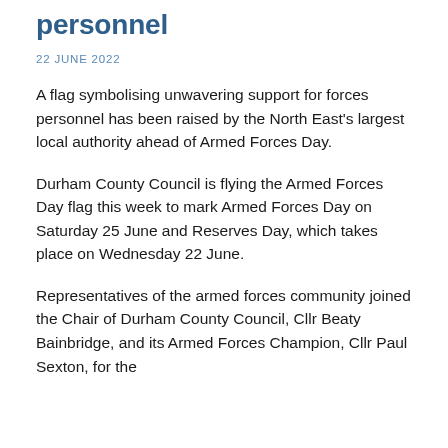personnel
22 JUNE 2022
A flag symbolising unwavering support for forces personnel has been raised by the North East's largest local authority ahead of Armed Forces Day.
Durham County Council is flying the Armed Forces Day flag this week to mark Armed Forces Day on Saturday 25 June and Reserves Day, which takes place on Wednesday 22 June.
Representatives of the armed forces community joined the Chair of Durham County Council, Cllr Beaty Bainbridge, and its Armed Forces Champion, Cllr Paul Sexton, for the